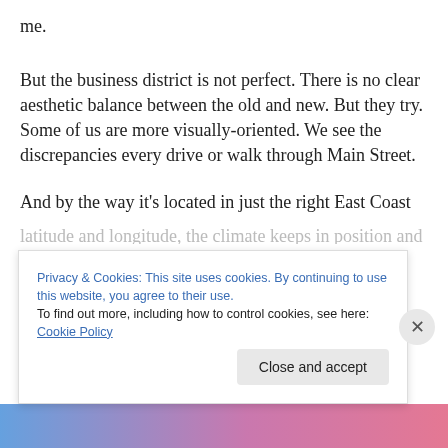me.
But the business district is not perfect. There is no clear aesthetic balance between the old and new. But they try. Some of us are more visually-oriented. We see the discrepancies every drive or walk through Main Street.
And by the way it's located in just the right East Coast
[partially visible text continuation]
Privacy & Cookies: This site uses cookies. By continuing to use this website, you agree to their use.
To find out more, including how to control cookies, see here: Cookie Policy